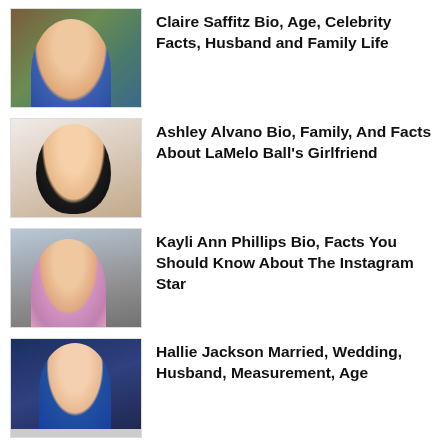[Figure (photo): Photo of Claire Saffitz in a kitchen wearing a blue floral top and dark apron]
Claire Saffitz Bio, Age, Celebrity Facts, Husband and Family Life
[Figure (photo): Portrait photo of Ashley Alvano with long wavy dark hair against a light background]
Ashley Alvano Bio, Family, And Facts About LaMelo Ball’s Girlfriend
[Figure (photo): Selfie photo of Kayli Ann Phillips in a pink top making a peace sign, number 27 visible in background]
Kayli Ann Phillips Bio, Facts You Should Know About The Instagram Star
[Figure (photo): Photo of Hallie Jackson in a blue outfit in front of a news studio background]
Hallie Jackson Married, Wedding, Husband, Measurement, Age